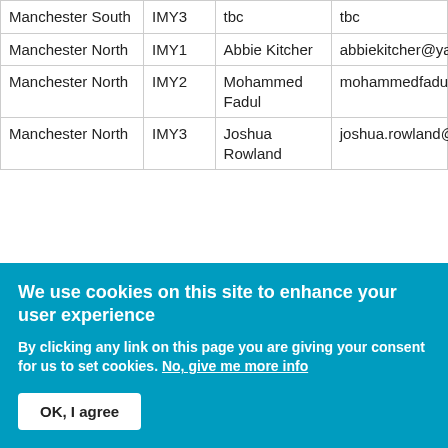| Manchester South | IMY3 | tbc | tbc |
| Manchester North | IMY1 | Abbie Kitcher | abbiekitcher@yahoo.co.u... |
| Manchester North | IMY2 | Mohammed Fadul | mohammedfadul1989@g... |
| Manchester North | IMY3 | Joshua Rowland | joshua.rowland@doctors... |
We use cookies on this site to enhance your user experience
By clicking any link on this page you are giving your consent for us to set cookies. No, give me more info
OK, I agree